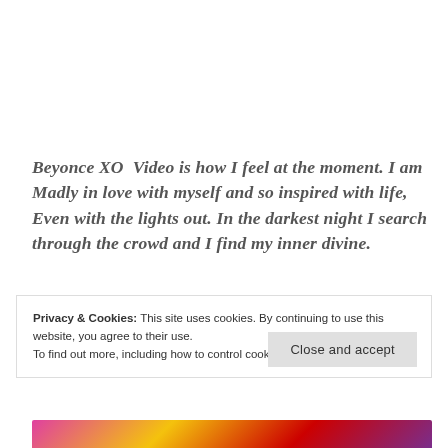Beyonce XO  Video is how I feel at the moment. I am Madly in love with myself and so inspired with life, Even with the lights out. In the darkest night I search through the crowd and I find my inner divine.
Privacy & Cookies: This site uses cookies. By continuing to use this website, you agree to their use.
To find out more, including how to control cookies, see here: Cookie Policy
[Figure (photo): Colorful image strip at the bottom, showing vibrant colors including pink, yellow, red, and purple.]